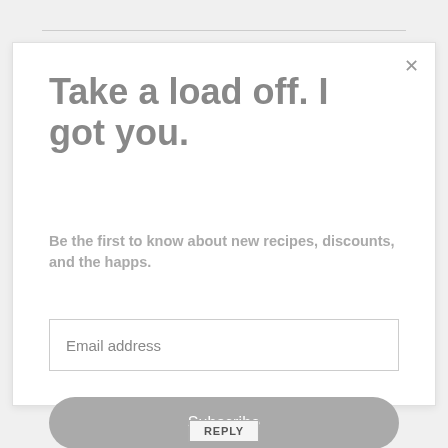Take a load off. I got you.
Be the first to know about new recipes, discounts, and the happs.
Email address
Subscribe
REPLY